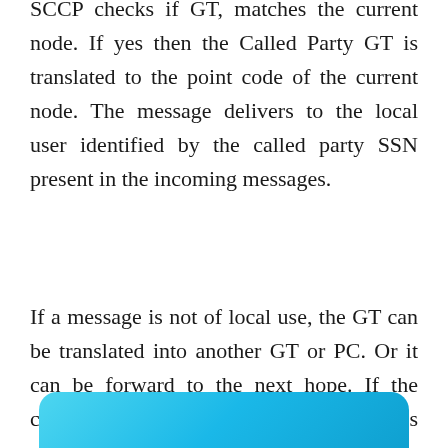SCCP checks if GT, matches the current node. If yes then the Called Party GT is translated to the point code of the current node. The message delivers to the local user identified by the called party SSN present in the incoming messages.
If a message is not of local use, the GT can be translated into another GT or PC. Or it can be forward to the next hope. If the current nodes know the point code which is serving the called party address then the gt is translated on point code else forwards to next hope.
[Figure (other): Blue rounded rectangle bar at the bottom of the page, partially visible]